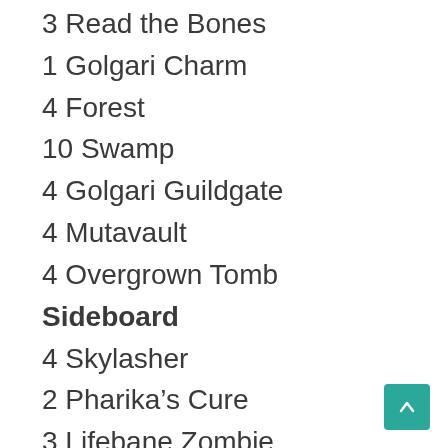3 Read the Bones
1 Golgari Charm
4 Forest
10 Swamp
4 Golgari Guildgate
4 Mutavault
4 Overgrown Tomb
Sideboard
4 Skylasher
2 Pharika’s Cure
3 Lifebane Zombie
1 Duress
2 Ratchet Bomb